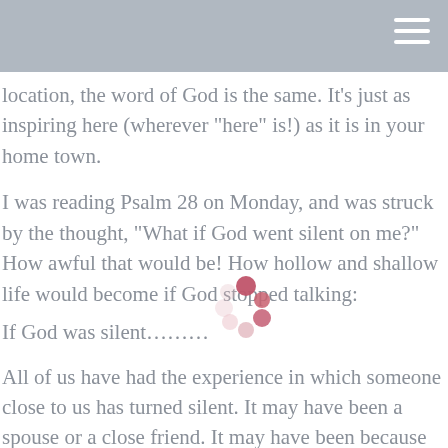location, the word of God is the same. It’s just as inspiring here (wherever “here” is!) as it is in your home town.
I was reading Psalm 28 on Monday, and was struck by the thought, “What if God went silent on me?” How awful that would be! How hollow and shallow life would become if God stopped talking:
If God was silent……….
All of us have had the experience in which someone close to us has turned silent. It may have been a spouse or a close friend. It may have been because of preoccupation with